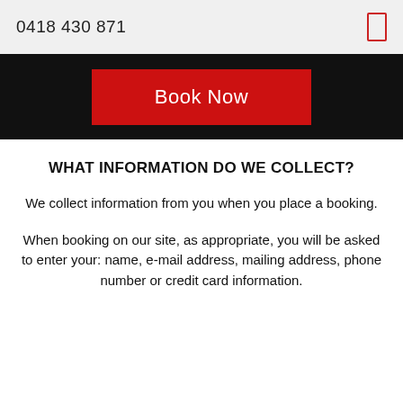0418 430 871
Book Now
WHAT INFORMATION DO WE COLLECT?
We collect information from you when you place a booking.
When booking on our site, as appropriate, you will be asked to enter your: name, e-mail address, mailing address, phone number or credit card information.